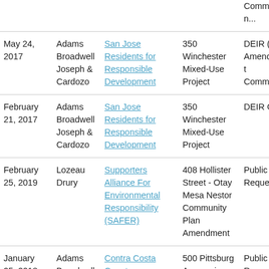| Date | Firm | Client | Project | Type |
| --- | --- | --- | --- | --- |
| [partial top row - Commission...] |  |  |  |  |
| May 24, 2017 | Adams Broadwell Joseph & Cardozo | San Jose Residents for Responsible Development | 350 Winchester Mixed-Use Project | DEIR (1st Amendment Comments |
| February 21, 2017 | Adams Broadwell Joseph & Cardozo | San Jose Residents for Responsible Development | 350 Winchester Mixed-Use Project | DEIR Comm... |
| February 25, 2019 | Lozeau Drury | Supporters Alliance For Environmental Responsibility (SAFER) | 408 Hollister Street - Otay Mesa Nestor Community Plan Amendment | Public Records Request |
| January 25, 2018 | Adams Broadwell Joseph & Cardozo | Contra Costa County Residents for Responsible | 500 Pittsburg Avenue in Richmond - Warehouse | Public Records Request |